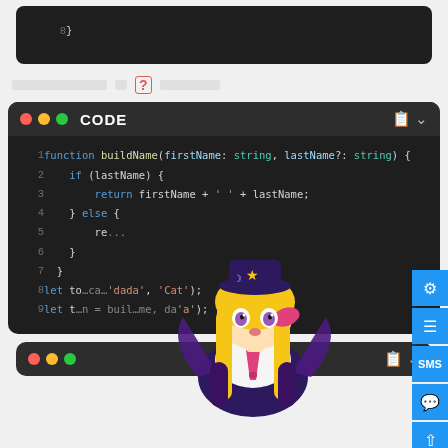[Figure (screenshot): Code snippet showing closing brace line 8 on dark background]
░░░░░░░░░░░░░░ ? ░░░░░░░░
[Figure (screenshot): Dark code editor block titled CODE with TypeScript buildName function, lines 1-9, with anime character overlay]
[Figure (screenshot): Bottom code editor block with traffic light buttons]